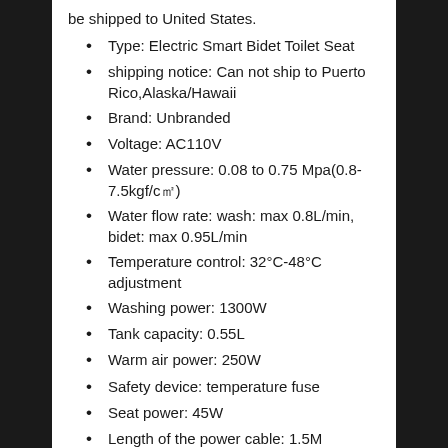be shipped to United States.
Type: Electric Smart Bidet Toilet Seat
shipping notice: Can not ship to Puerto Rico,Alaska/Hawaii
Brand: Unbranded
Voltage: AC110V
Water pressure: 0.08 to 0.75 Mpa(0.8-7.5kgf/c㎡)
Water flow rate: wash: max 0.8L/min, bidet: max 0.95L/min
Temperature control: 32°C-48°C adjustment
Washing power: 1300W
Tank capacity: 0.55L
Warm air power: 250W
Safety device: temperature fuse
Seat power: 45W
Length of the power cable: 1.5M
Fit hose: 1/2\